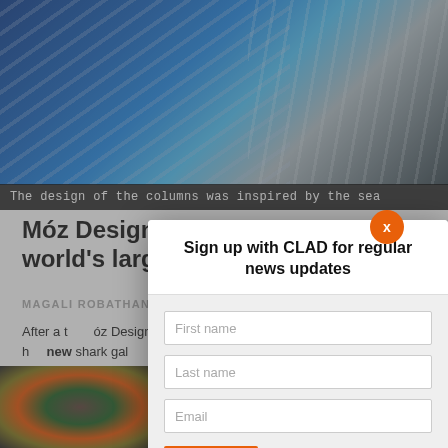[Figure (photo): Close-up photo of illuminated columns with blue lighting, diagonal lines suggesting architectural metallic columns inspired by the sea]
The design of the columns was inspired by the sea
Móz Designs columns anchor the world's largest indoor aquarium
MAGALI ROBATHAN
After a t… óz Designs h… new shark gal…
SHARE T…
[Figure (screenshot): Modal popup dialog: Sign up with CLAD for regular news updates, with First name, Last name, Email fields and SIGN UP button]
[Figure (photo): Bottom left thumbnail: abstract colorful swirling pattern in dark green, orange, gold tones]
[Figure (photo): Bottom right thumbnail: abstract colorful swirling pattern similar to left thumbnail]